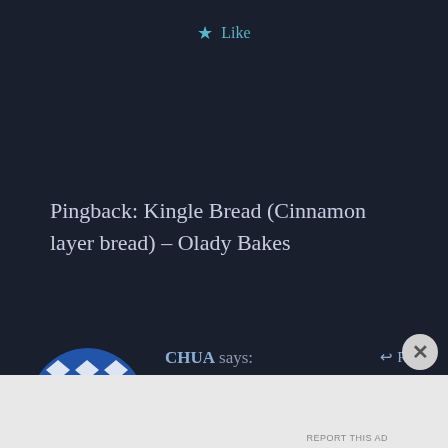★ Like
Pingback: Kingle Bread (Cinnamon layer bread) – Olady Bakes
CHUA says:
November 3, 2018 at 10:40 pm
Can I use bread machine to do the job? Is the procedure the
Advertisements